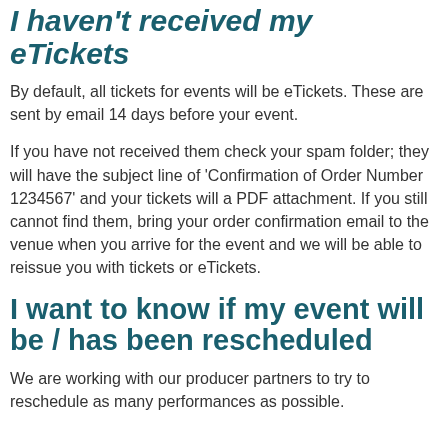I haven't received my eTickets
By default, all tickets for events will be eTickets. These are sent by email 14 days before your event.
If you have not received them check your spam folder; they will have the subject line of 'Confirmation of Order Number 1234567' and your tickets will a PDF attachment. If you still cannot find them, bring your order confirmation email to the venue when you arrive for the event and we will be able to reissue you with tickets or eTickets.
I want to know if my event will be / has been rescheduled
We are working with our producer partners to try to reschedule as many performances as possible.